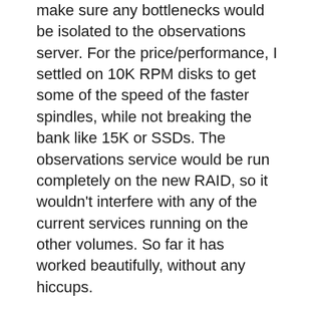make sure any bottlenecks would be isolated to the observations server. For the price/performance, I settled on 10K RPM disks to get some of the speed of the faster spindles, while not breaking the bank like 15K or SSDs. The observations service would be run completely on the new RAID, so it wouldn't interfere with any of the current services running on the other volumes. So far it has worked beautifully, without any hiccups.
My point here is that it's not always the best idea to create a single big volume and throw all your load at it. Sometimes that setup works well because of its simplicity and the extra speed you might get out of it. However, with most server equipment having enough memory and CPU cycles to create several virtual machines, usually the first limitation you will run into is a disk bottleneck. When splitting the load between multiple RAID volumes, you not only make it easier to isolate problem services that might be using more than their fair share, but you also limit the extent of...